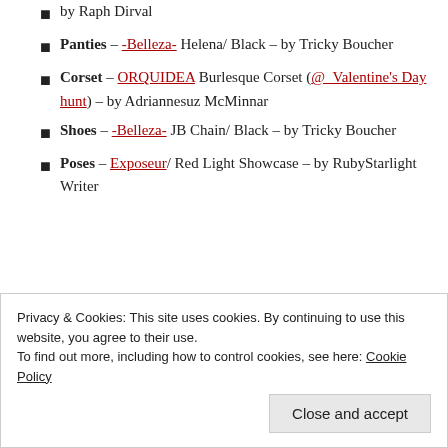by Raph Dirval
Panties – -Belleza- Helena/ Black – by Tricky Boucher
Corset – ORQUIDEA Burlesque Corset (@_Valentine's Day hunt) – by Adriannesuz McMinnar
Shoes – -Belleza- JB Chain/ Black – by Tricky Boucher
Poses – Exposeur/ Red Light Showcase – by RubyStarlight Writer
21
Do I have to say the
Th...b...
Privacy & Cookies: This site uses cookies. By continuing to use this website, you agree to their use. To find out more, including how to control cookies, see here: Cookie Policy
Close and accept